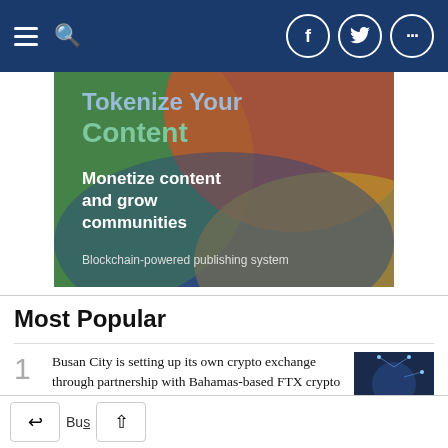Navigation bar with menu, search, Facebook, Twitter, and more icons
[Figure (illustration): Advertisement banner for a blockchain-powered publishing system. Text reads: 'Tokenize Your Content', 'Monetize content and grow communities', 'Blockchain-powered publishing system'. Colorful curved shapes in green, orange, blue, and gold gradient background.]
Most Popular
1. Busan City is setting up its own crypto exchange through partnership with Bahamas-based FTX crypto firm.
2. SK Group and Naver may cooperate to win in the bid to host the World Expo 2030 in Bus...